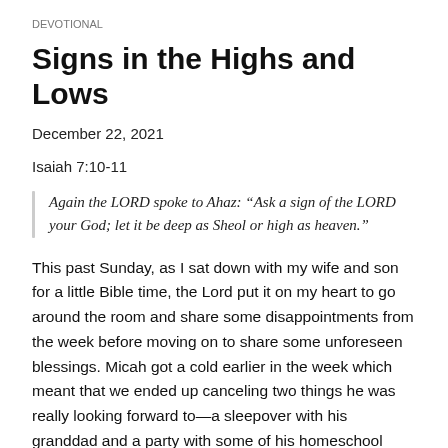DEVOTIONAL
Signs in the Highs and Lows
December 22, 2021
Isaiah 7:10-11
Again the LORD spoke to Ahaz: “Ask a sign of the LORD your God; let it be deep as Sheol or high as heaven.”
This past Sunday, as I sat down with my wife and son for a little Bible time, the Lord put it on my heart to go around the room and share some disappointments from the week before moving on to share some unforeseen blessings. Micah got a cold earlier in the week which meant that we ended up canceling two things he was really looking forward to—a sleepover with his granddad and a party with some of his homeschool buddies; but as